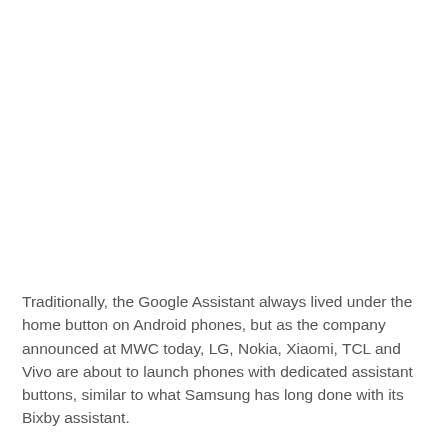Traditionally, the Google Assistant always lived under the home button on Android phones, but as the company announced at MWC today, LG, Nokia, Xiaomi, TCL and Vivo are about to launch phones with dedicated assistant buttons, similar to what Samsung has long done with its Bixby assistant.